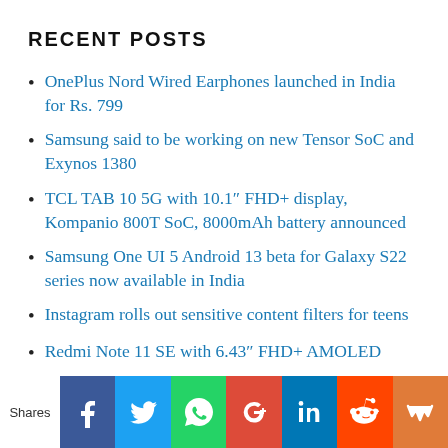RECENT POSTS
OnePlus Nord Wired Earphones launched in India for Rs. 799
Samsung said to be working on new Tensor SoC and Exynos 1380
TCL TAB 10 5G with 10.1″ FHD+ display, Kompanio 800T SoC, 8000mAh battery announced
Samsung One UI 5 Android 13 beta for Galaxy S22 series now available in India
Instagram rolls out sensitive content filters for teens
Redmi Note 11 SE with 6.43″ FHD+ AMOLED
Shares | Facebook | Twitter | WhatsApp | Google+ | LinkedIn | Reddit | Mix